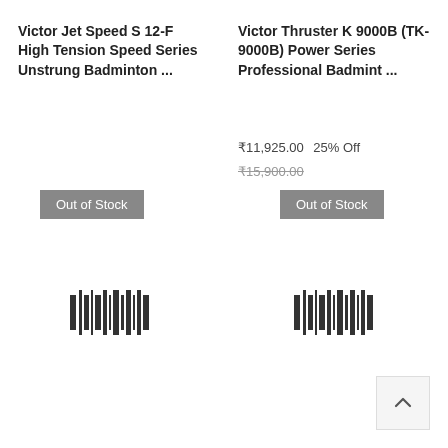Victor Jet Speed S 12-F High Tension Speed Series Unstrung Badminton ...
Victor Thruster K 9000B (TK-9000B) Power Series Professional Badmint ...
₹11,925.00 25% Off ₹15,900.00
Out of Stock
Out of Stock
[Figure (other): Barcode icon left product]
[Figure (other): Barcode icon right product]
[Figure (other): Back to top button with upward chevron arrow]